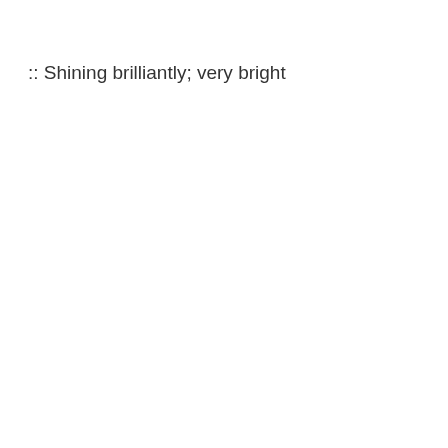:: Shining brilliantly; very bright